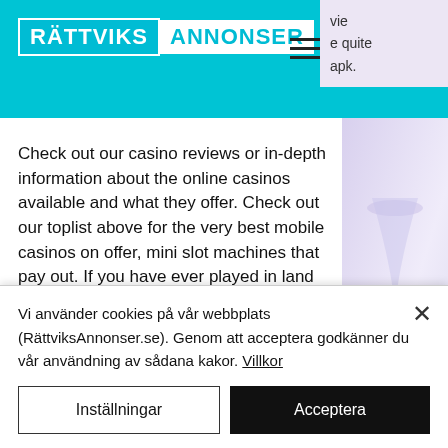RÄTTVIKS ANNONSER
vie
e quite
apk.
Check out our casino reviews or in-depth information about the online casinos available and what they offer. Check out our toplist above for the very best mobile casinos on offer, mini slot machines that pay out. If you have ever played in land based gambling halls and casinos, you will feel no difference in online games. You will be offered several types of slot games, each of which has its own characteristics, casino las vegas online free. No Deposit Casinos and Bonus Codes Nov 2021
Vi använder cookies på vår webbplats (RättviksAnnonser.se). Genom att acceptera godkänner du vår användning av sådana kakor. Villkor